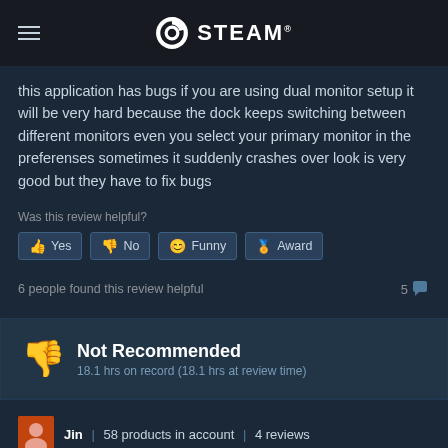STEAM
this application has bugs if you are using dual monitor setup it will be very hard because the dock keeps switching between different monitors even you select your primary monitor in the preferenses sometimes it suddenly crashes over look is very good but they have to fix bugs
Was this review helpful?
Yes  No  Funny  Award
6 people found this review helpful   5
Not Recommended
18.1 hrs on record (18.1 hrs at review time)
Jin | 58 products in account | 4 reviews
POSTED: JULY 24   DIRECT FROM STEAM